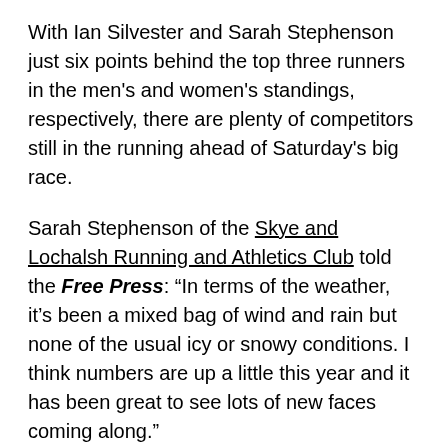With Ian Silvester and Sarah Stephenson just six points behind the top three runners in the men's and women's standings, respectively, there are plenty of competitors still in the running ahead of Saturday's big race.
Sarah Stephenson of the Skye and Lochalsh Running and Athletics Club told the Free Press: "In terms of the weather, it's been a mixed bag of wind and rain but none of the usual icy or snowy conditions. I think numbers are up a little this year and it has been great to see lots of new faces coming along."
Registration for the race takes place from 11.30 am on Saturday at Sconser Golf Club and the race starts at 12 pm. Competitors will be tasked with running out and back from the golf club along the Moll Road.
The race is waymarked and is open to anyone aged 16